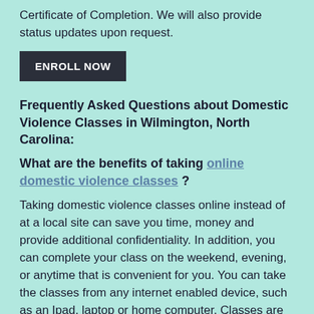Certificate of Completion. We will also provide status updates upon request.
ENROLL NOW
Frequently Asked Questions about Domestic Violence Classes in Wilmington, North Carolina:
What are the benefits of taking online domestic violence classes ?
Taking domestic violence classes online instead of at a local site can save you time, money and provide additional confidentiality. In addition, you can complete your class on the weekend, evening, or anytime that is convenient for you. You can take the classes from any internet enabled device, such as an Ipad, laptop or home computer. Classes are available for Wilmington, North Carolina immediately, so you can start anytime and complete the classes on your own schedule 24/7